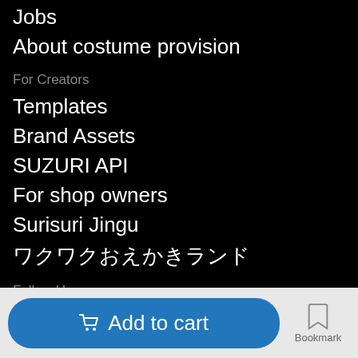Jobs
About costume provision
For Creators
Templates
Brand Assets
SUZURI API
For shop owners
Surisuri Jingu
ワクワクおえかきランド
Follow Us
LINE
Instagram